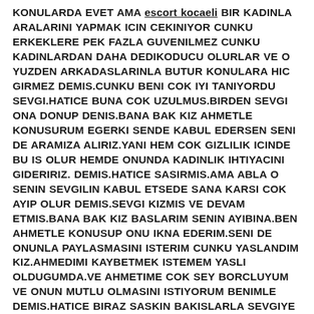KONULARDA EVET AMA escort kocaeli BIR KADINLA ARALARINI YAPMAK ICIN CEKINIYOR CUNKU ERKEKLERE PEK FAZLA GUVENILMEZ CUNKU KADINLARDAN DAHA DEDIKODUCU OLURLAR VE O YUZDEN ARKADASLARINLA BUTUR KONULARA HIC GIRMEZ DEMIS.CUNKU BENI COK IYI TANIYORDU SEVGI.HATICE BUNA COK UZULMUS.BIRDEN SEVGI ONA DONUP DENIS.BANA BAK KIZ AHMETLE KONUSURUM EGERKI SENDE KABUL EDERSEN SENI DE ARAMIZA ALIRIZ.YANI HEM COK GIZLILIK ICINDE BU IS OLUR HEMDE ONUNDA KADINLIK IHTIYACINI GIDERIRIZ. DEMIS.HATICE SASIRMIS.AMA ABLA O SENIN SEVGILIN KABUL ETSEDE SANA KARSI COK AYIP OLUR DEMIS.SEVGI KIZMIS VE DEVAM ETMIS.BANA BAK KIZ BASLARIM SENIN AYIBINA.BEN AHMETLE KONUSUP ONU IKNA EDERIM.SENI DE ONUNLA PAYLASMASINI ISTERIM CUNKU YASLANDIM KIZ.AHMEDIMI KAYBETMEK ISTEMEM YASLI OLDUGUMDA.VE AHMETIME COK SEY BORCLUYUM VE ONUN MUTLU OLMASINI ISTIYORUM BENIMLE DEMIS.HATICE BIRAZ SASKIN BAKISLARLA SEVGIYE DEMIS.YA REDDEDERSE VE BU YUZDEN SENI TERK EDERSE SEVGI HANIM ONA DEMISKI:MERAK ETME KIZ